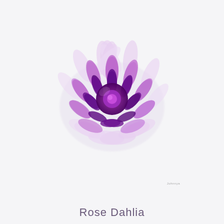[Figure (photo): A close-up photograph of a Rose Dahlia flower with light lavender/pink outer petals and deep purple inner petals, photographed against a bright white/light grey background. The flower is centered and viewed from above.]
Rose Dahlia